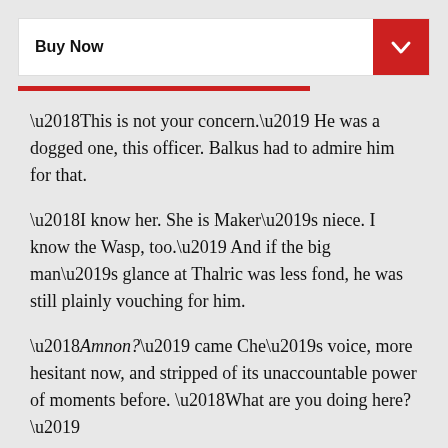Buy Now
‘This is not your concern.’ He was a dogged one, this officer. Balkus had to admire him for that.
‘I know her. She is Maker’s niece. I know the Wasp, too.’ And if the big man’s glance at Thalric was less fond, he was still plainly vouching for him.
‘Amnon?’ came Che’s voice, more hesitant now, and stripped of its unaccountable power of moments before. ‘What are you doing here?’
A change whipped through the Ants, all at once. Even Balkus felt the lash of it. Abruptly they had stepped away from Che’s party, no longer guarding four people who were, therefore, no longer prisoners. The collective mind was now focused elsewhere, for a burly